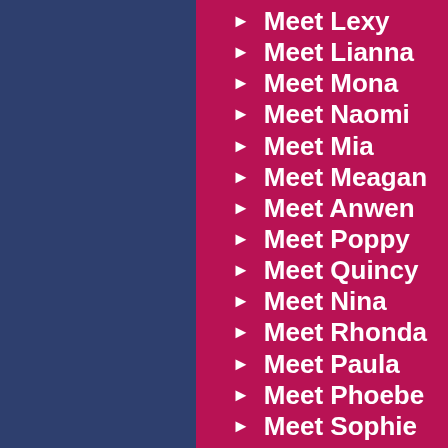Meet Lexy
Meet Lianna
Meet Mona
Meet Naomi
Meet Mia
Meet Meagan
Meet Anwen
Meet Poppy
Meet Quincy
Meet Nina
Meet Rhonda
Meet Paula
Meet Phoebe
Meet Sophie